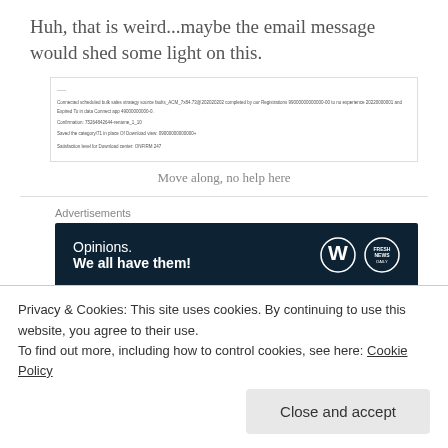Huh, that is weird...maybe the email message would shed some light on this.
[Figure (screenshot): Screenshot of an email message with small unreadable text]
Move along, no help here
Advertisements
[Figure (infographic): Dark navy advertisement banner reading 'Opinions. We all have them!' with WordPress and Fresh News logos]
Sigh...Good thing I have a GIF of Batman
Privacy & Cookies: This site uses cookies. By continuing to use this website, you agree to their use.
To find out more, including how to control cookies, see here: Cookie Policy
Close and accept